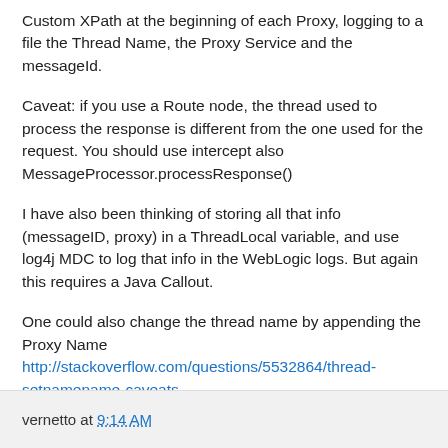Custom XPath at the beginning of each Proxy, logging to a file the Thread Name, the Proxy Service and the messageId.
Caveat: if you use a Route node, the thread used to process the response is different from the one used for the request. You should use intercept also MessageProcessor.processResponse()
I have also been thinking of storing all that info (messageID, proxy) in a ThreadLocal variable, and use log4j MDC to log that info in the WebLogic logs. But again this requires a Java Callout.
One could also change the thread name by appending the Proxy Name http://stackoverflow.com/questions/5532864/thread-setnamename-caveats
See also https://forums.oracle.com/thread/2449899
vernetto at 9:14 AM